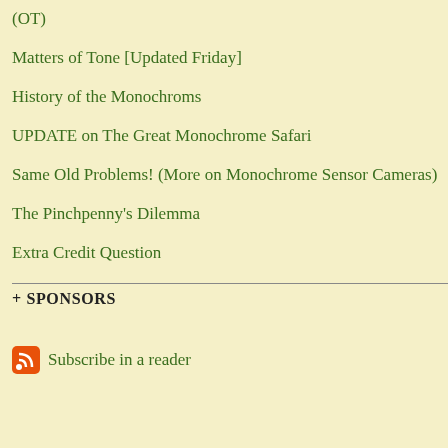(OT)
Matters of Tone [Updated Friday]
History of the Monochroms
UPDATE on The Great Monochrome Safari
Same Old Problems! (More on Monochrome Sensor Cameras)
The Pinchpenny's Dilemma
Extra Credit Question
+ SPONSORS
Subscribe in a reader
It was widely thought in 2007 that H latter's medical equipment technolog will retain. It was believed then that Camera Division for long but would
Pentax has an outsized reputation an its long and storied history; the marc a household name in the first decade mount Ricoh SLRs, from the KR-5, so Ricoh and Pentax K-mount came compatible.) Recently Pentax's lates earned praise even as its compact ca somewhat.
Where cameras are concerned, Ricoh compacts.
Market share figures for DSLRs and different; Sony, for instance, is very Canon is way out in front when it co share in cameras overall is only 1.5